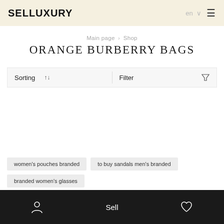SELLUXURY
Main page > Shop
ORANGE BURBERRY BAGS
Sorting   ↑↓   Filter
women's pouches branded
to buy sandals men's branded
branded women's glasses
Sell